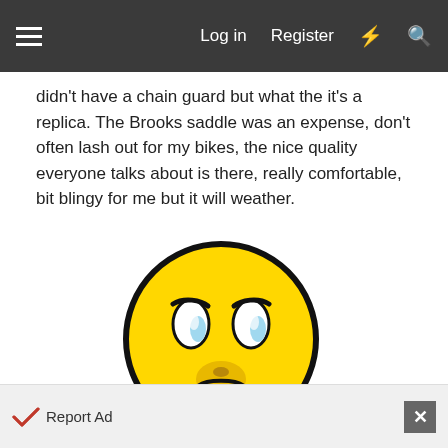≡   Log in   Register   ⚡   🔍
didn't have a chain guard but what the it's a replica. The Brooks saddle was an expense, don't often lash out for my bikes, the nice quality everyone talks about is there, really comfortable, bit blingy for me but it will weather.
[Figure (illustration): Tinypic logo image: a cartoon sad/worried yellow smiley face emoji holding its head in its hands (orange hands with blue fists), with the word 'tinypic' in colorful bubble letters below it.]
Report Ad  ✕